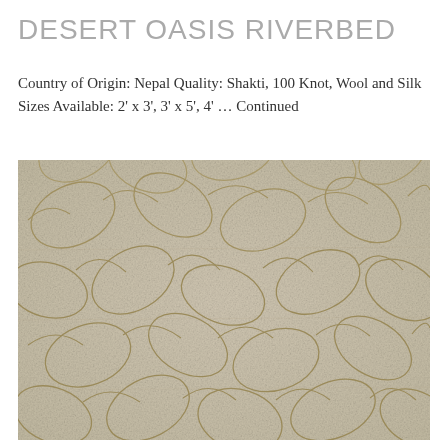DESERT OASIS RIVERBED
Country of Origin: Nepal Quality: Shakti, 100 Knot, Wool and Silk Sizes Available: 2' x 3', 3' x 5', 4' … Continued
[Figure (photo): Close-up photograph of a textured rug with a repeating organic leaf/pebble pattern in beige and cream tones, showing the Desert Oasis Riverbed design.]